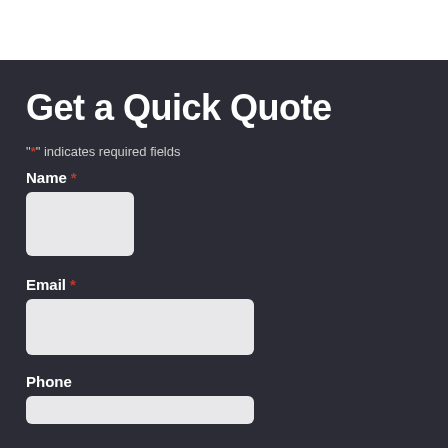Get a Quick Quote
"*" indicates required fields
Name *
Email *
Phone